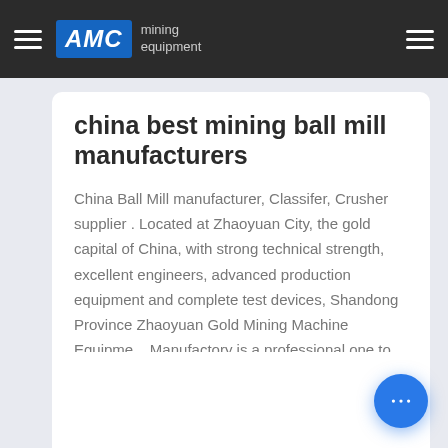AMC mining equipment
china best mining ball mill manufacturers
China Ball Mill manufacturer, Classifer, Crusher supplier . Located at Zhaoyuan City, the gold capital of China, with strong technical strength, excellent engineers, advanced production equipment and complete test devices, Shandong Province Zhaoyuan Gold Mining Machine Equipme... Manufactory is a professional one to produce mine